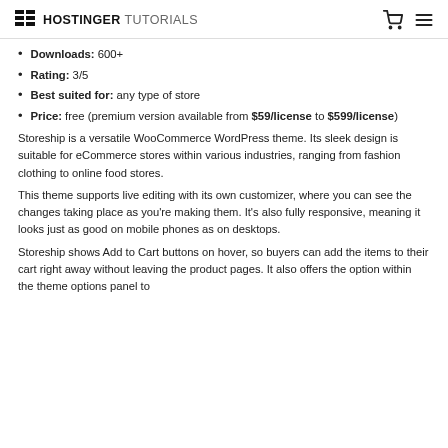HOSTINGER TUTORIALS
Downloads: 600+
Rating: 3/5
Best suited for: any type of store
Price: free (premium version available from $59/license to $599/license)
Storeship is a versatile WooCommerce WordPress theme. Its sleek design is suitable for eCommerce stores within various industries, ranging from fashion clothing to online food stores.
This theme supports live editing with its own customizer, where you can see the changes taking place as you’re making them. It’s also fully responsive, meaning it looks just as good on mobile phones as on desktops.
Storeship shows Add to Cart buttons on hover, so buyers can add the items to their cart right away without leaving the product pages. It also offers the option within the theme options panel to